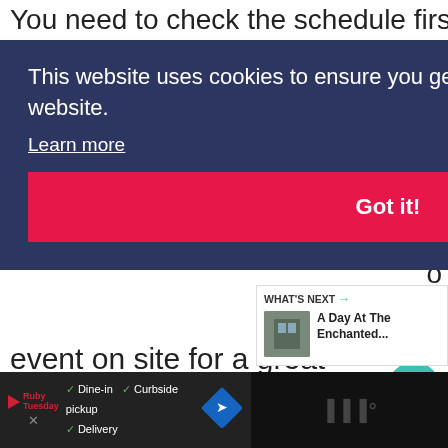You need to check the schedule first an
[Figure (screenshot): Cookie consent banner with dark navy background. Text reads: 'This website uses cookies to ensure you get the best experience on our website. Learn more' with a pink/red 'Got it!' button below.]
cial event on site for a great purpose. Too bad, we did not go for this special occasion, I can only imagine it must be so much fun to experience this event.
[Figure (infographic): Heart like button showing 84 likes, and a share button]
[Figure (screenshot): What's Next panel: 'A Day At The Enchanted...' with thumbnail image]
[Figure (screenshot): Ruby Tuesday advertisement footer with Dine-in, Delivery, Curbside pickup options and navigation icon. Right side shows dark panel with WW logo and reCAPTCHA.]